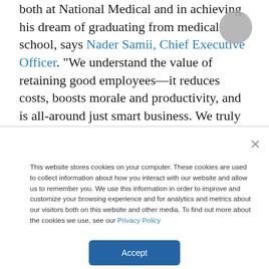both at National Medical and in achieving his dream of graduating from medical school, says Nader Samii, Chief Executive Officer. "We understand the value of retaining good employees—it reduces costs, boosts morale and productivity, and is all-around just smart business. We truly support employees who are trying
This website stores cookies on your computer. These cookies are used to collect information about how you interact with our website and allow us to remember you. We use this information in order to improve and customize your browsing experience and for analytics and metrics about our visitors both on this website and other media. To find out more about the cookies we use, see our Privacy Policy